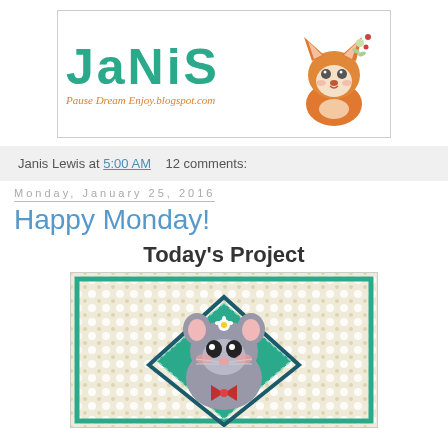[Figure (logo): Janis blog header logo with teal text 'janis' and orange fox illustration, subtitle 'Pause Dream Enjoy.blogspot.com']
Janis Lewis at 5:00 AM    12 comments:
Monday, January 25, 2016
Happy Monday!
Today's Project
[Figure (photo): Craft card featuring a cute gray mouse with pink cheeks and a flower on its head, peeking out from a teal diamond shape on a patterned background]